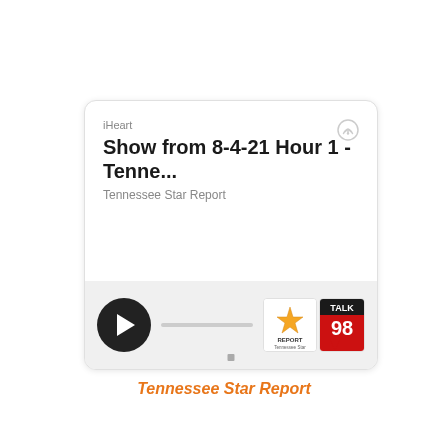[Figure (screenshot): iHeart podcast player card showing 'Show from 8-4-21 Hour 1 - Tenne...' by Tennessee Star Report, with play button, progress bar, and station logos for Tennessee Star Report and Talk 98]
Tennessee Star Report